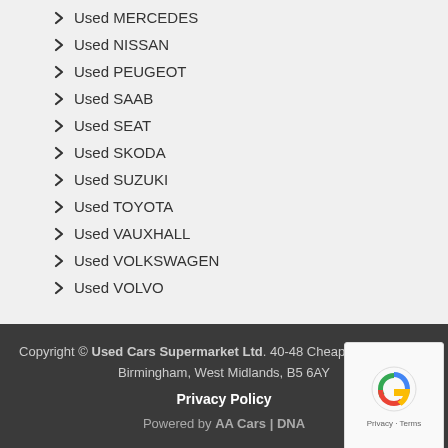Used MERCEDES
Used NISSAN
Used PEUGEOT
Used SAAB
Used SEAT
Used SKODA
Used SUZUKI
Used TOYOTA
Used VAUXHALL
Used VOLKSWAGEN
Used VOLVO
Copyright © Used Cars Supermarket Ltd. 40-48 Cheapside, Deritend, Birmingham, West Midlands, B5 6AY Privacy Policy Powered by AA Cars | DNA